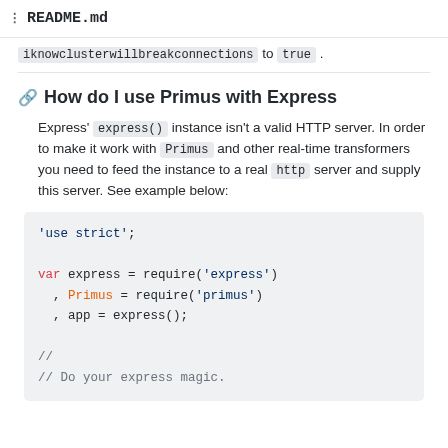README.md
iknowclusterwillbreakconnections to true .
How do I use Primus with Express
Express' express() instance isn't a valid HTTP server. In order to make it work with Primus and other real-time transformers you need to feed the instance to a real http server and supply this server. See example below:
'use strict';

var express = require('express')
  , Primus = require('primus')
  , app = express();

//
// Do your express magic.